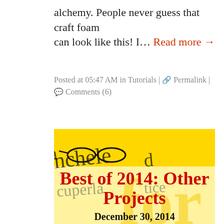alchemy. People never guess that craft foam can look like this! I... Read more →
Posted at 05:47 AM in Tutorials | 🔗 Permalink | 💬 Comments (6)
[Figure (illustration): Yellow and cream banner image with cursive script overlay and bold red text 'Best of 2014: Other Projects' and black bold text 'December 30, 2014']